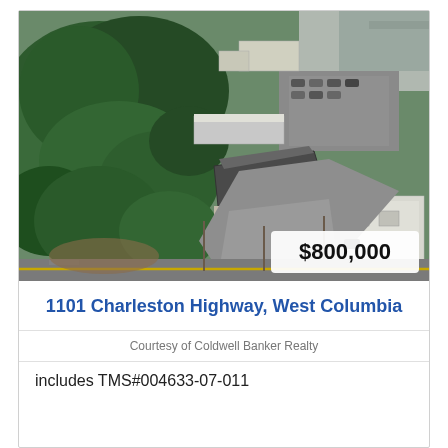[Figure (photo): Aerial photograph of commercial property at 1101 Charleston Highway, West Columbia. Shows buildings with parking lots, surrounded by dense green trees on the left side. A price badge showing $800,000 is overlaid in the bottom-right corner of the image.]
1101 Charleston Highway, West Columbia
Courtesy of Coldwell Banker Realty
includes TMS#004633-07-011